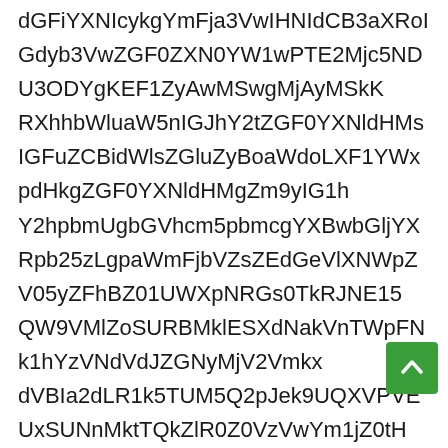dGFiYXNIcykgYmFja3VwIHNIdCB3aXRoIGdyb3VwZGF0ZXN0YW1wPTE2Mjc5NDU3ODYgKEF1ZyAwMSwgMjAyMSkKRXhhbWluaW5nIGJhY2tZGF0YXNldHMsIGFuZCBidWlsZGluZyBoaWdoLXF1YWxpdHkgZGF0YXNldHMgZm9yIG1hY2hpbmUgbGVhcm5pbmcgYXBwbGljYXRpb25zLgpaWmFjbVZsZEdGeVlXNWpZV05yZFhBZ01UWXpNRGs0TkRJNE15QW9VMlZoSURBMklESXdNakVnTWpFNk1hYzVNdVdJZGNyMjV2VmkxdVBIa2dLR1k5TUM5Q2pJek9UQXVPVEUxSUNnMktTQkZlR0Z0VzVwYm1jZ0tHWnZjaUJtYWMzTURBd01HRXpOak5qWVN3Z1pHRjBaWE4wWVcxd1BURTNLUV95TXprd0xqa3hOU0FvTmlrVkdocGN5QmlZV05yZFhBZ2MyVjBLVHNnZDJsc2JDQnlaWFJoVzRnYVc0Z2FHbHpkRzl5ZVFnd3RsS1RTZ2QybHNiQ0J5WlhRZ2QybDBhQ0J1YjI1alpZVC0xeU9DYlp6WlFnY21WdFlXbHlCdWIyNXRaVzF3ZEhrZ0tZOU1DOW9OVEVySUNoVFpYQWdNRFFnTWpBeU1TME5Ub3hNaWtLTWk
[Figure (other): Green scroll-to-top button with upward arrow chevron icon, positioned in the lower right area of the page.]